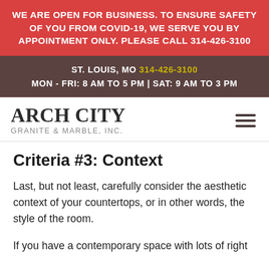WE ARE OPEN FOR BUSINESS. TO ENSURE SAFETY OF YOU FROM COVID-19, WE SERVE YOU BY APPOINTMENT ONLY. PLEASE CALL 314-426-3100
ST. LOUIS, MO 314-426-3100 MON - FRI: 8 AM to 5 PM | SAT: 9 AM to 3 PM
ARCH CITY GRANITE & MARBLE, INC.
Criteria #3: Context
Last, but not least, carefully consider the aesthetic context of your countertops, or in other words, the style of the room.
If you have a contemporary space with lots of right